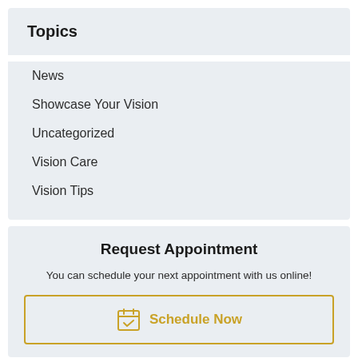Topics
News
Showcase Your Vision
Uncategorized
Vision Care
Vision Tips
Request Appointment
You can schedule your next appointment with us online!
Schedule Now